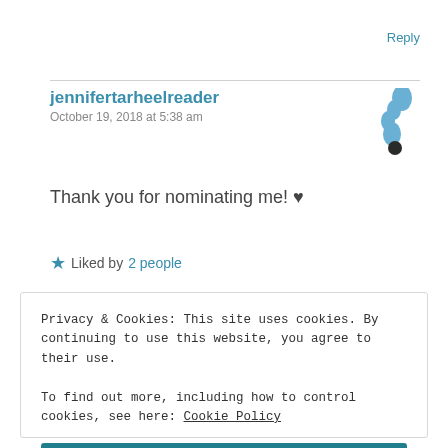Reply
jennifertarheelreader
October 19, 2018 at 5:38 am
[Figure (illustration): Small blue foot/footprint avatar icon]
Thank you for nominating me! ♥
★ Liked by 2 people
Privacy & Cookies: This site uses cookies. By continuing to use this website, you agree to their use.
To find out more, including how to control cookies, see here: Cookie Policy
Close and accept